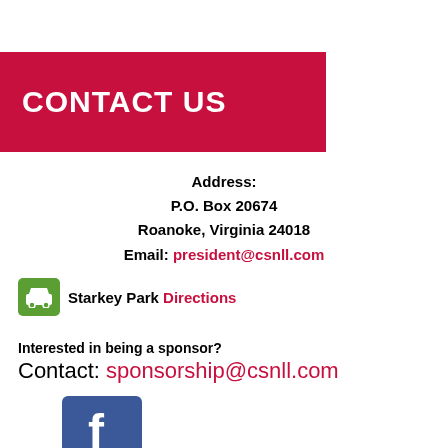CONTACT US
Address:
P.O. Box 20674
Roanoke, Virginia 24018
Email: president@csnll.com
Starkey Park Directions
Interested in being a sponsor?
Contact: sponsorship@csnll.com
[Figure (logo): Facebook logo icon - blue rounded square with white 'f']
CSNLL on Facebook